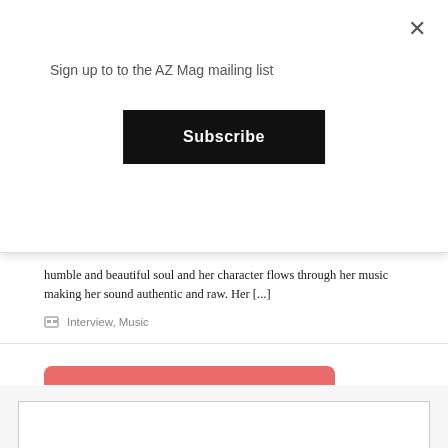Sign up to to the AZ Mag mailing list
Subscribe
humble and beautiful soul and her character flows through her music making her sound authentic and raw. Her [...]
Interview, Music
← OLDER POSTS